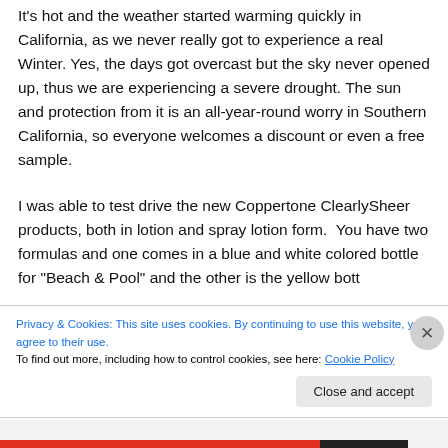It's hot and the weather started warming quickly in California, as we never really got to experience a real Winter. Yes, the days got overcast but the sky never opened up, thus we are experiencing a severe drought. The sun and protection from it is an all-year-round worry in Southern California, so everyone welcomes a discount or even a free sample.
I was able to test drive the new Coppertone ClearlySheer products, both in lotion and spray lotion form.  You have two formulas and one comes in a blue and white colored bottle for "Beach & Pool" and the other is the yellow bottle
Privacy & Cookies: This site uses cookies. By continuing to use this website, you agree to their use.
To find out more, including how to control cookies, see here: Cookie Policy
Close and accept